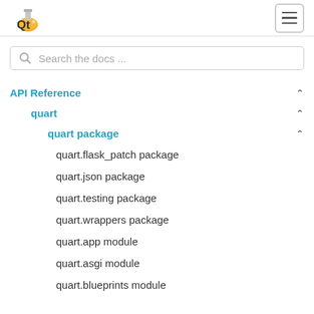Quart logo and navigation menu button
Search the docs ...
API Reference
quart
quart package
quart.flask_patch package
quart.json package
quart.testing package
quart.wrappers package
quart.app module
quart.asgi module
quart.blueprints module